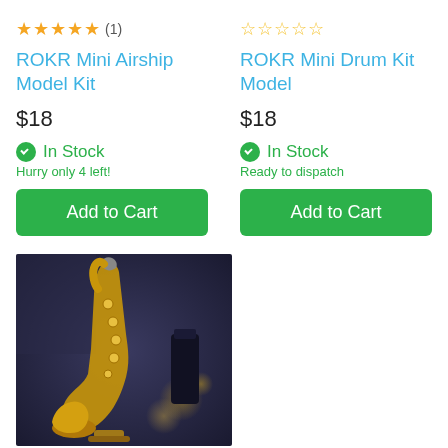★★★★★ (1)
ROKR Mini Airship Model Kit
$18
✔ In Stock
Hurry only 4 left!
Add to Cart
☆☆☆☆☆
ROKR Mini Drum Kit Model
$18
✔ In Stock
Ready to dispatch
Add to Cart
[Figure (photo): A golden saxophone model kit displayed against a dark blue/purple background with bokeh lights]